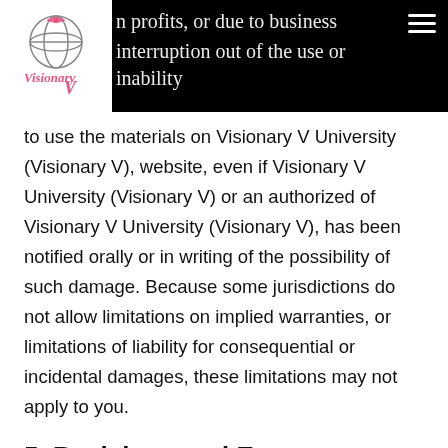profits, or due to business interruption out of the use or inability to use the materials on Visionary V University (Visionary V), website, even if Visionary V University (Visionary V) or an authorized of Visionary V University (Visionary V), has been notified orally or in writing of the possibility of such damage. Because some jurisdictions do not allow limitations on implied warranties, or limitations of liability for consequential or incidental damages, these limitations may not apply to you.
[Figure (logo): Visionary V logo with globe and pink script text]
to use the materials on Visionary V University (Visionary V), website, even if Visionary V University (Visionary V) or an authorized of Visionary V University (Visionary V), has been notified orally or in writing of the possibility of such damage. Because some jurisdictions do not allow limitations on implied warranties, or limitations of liability for consequential or incidental damages, these limitations may not apply to you.
5. Revisions and Errata
The materials appearing on Visionary V